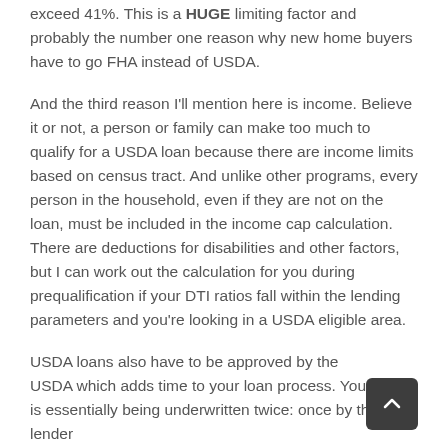exceed 41%. This is a HUGE limiting factor and probably the number one reason why new home buyers have to go FHA instead of USDA.
And the third reason I'll mention here is income. Believe it or not, a person or family can make too much to qualify for a USDA loan because there are income limits based on census tract. And unlike other programs, every person in the household, even if they are not on the loan, must be included in the income cap calculation. There are deductions for disabilities and other factors, but I can work out the calculation for you during prequalification if your DTI ratios fall within the lending parameters and you're looking in a USDA eligible area.
USDA loans also have to be approved by the USDA which adds time to your loan process. Your loan is essentially being underwritten twice: once by the lender